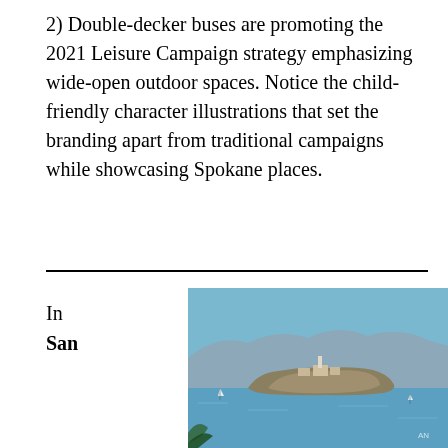2) Double-decker buses are promoting the 2021 Leisure Campaign strategy emphasizing wide-open outdoor spaces. Notice the child-friendly character illustrations that set the branding apart from traditional campaigns while showcasing Spokane places.
In
San
[Figure (photo): Aerial or distant view of an island (Alcatraz) in a blue bay with a hilly backdrop under a blue sky]